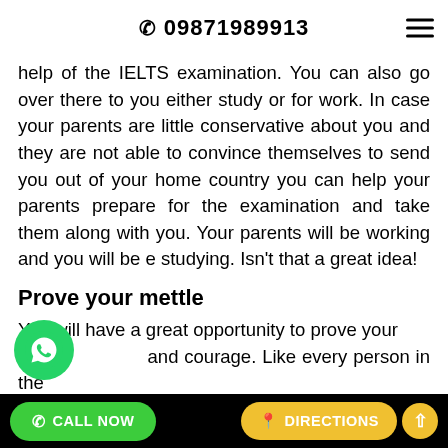📞 09871989913
help of the IELTS examination. You can also go over there to you either study or for work. In case your parents are little conservative about you and they are not able to convince themselves to send you out of your home country you can help your parents prepare for the examination and take them along with you. Your parents will be working and you will be e studying. Isn't that a great idea!
Prove your mettle
You will have a great opportunity to prove your and courage. Like every person in the you also want to prove that you are talented enough to be respected by people all
CALL NOW   DIRECTIONS